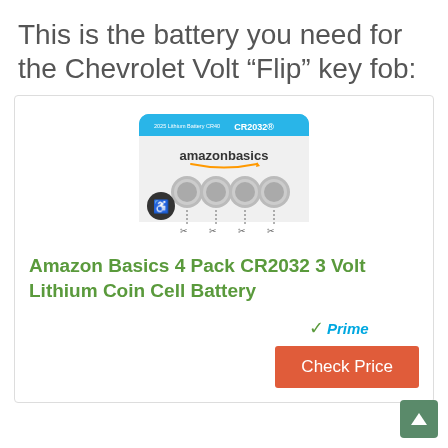This is the battery you need for the Chevrolet Volt “Flip” key fob:
[Figure (photo): Amazon Basics CR2032 4-pack lithium coin cell battery package showing four silver coin batteries]
Amazon Basics 4 Pack CR2032 3 Volt Lithium Coin Cell Battery
[Figure (logo): Amazon Prime logo with checkmark and Prime text in blue italic]
Check Price